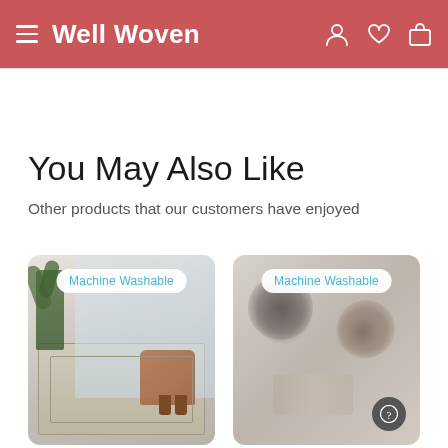Well Woven
You May Also Like
Other products that our customers have enjoyed
[Figure (photo): Product card showing a grey Persian-style area rug in a living room setting with a leather chair and plant, labeled 'Machine Washable']
[Figure (photo): Product card showing a blurred rug product image, labeled 'Machine Washable']